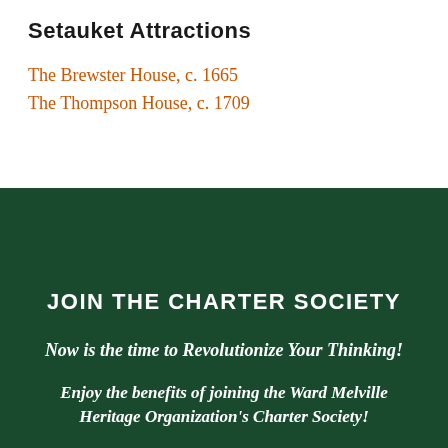Setauket Attractions
The Brewster House, c. 1665
The Thompson House, c. 1709
JOIN THE CHARTER SOCIETY
Now is the time to Revolutionize Your Thinking!
Enjoy the benefits of joining the Ward Melville Heritage Organization's Charter Society!